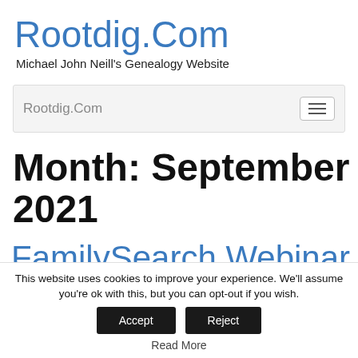Rootdig.Com
Michael John Neill's Genealogy Website
[Figure (screenshot): Navigation bar with 'Rootdig.Com' brand text on the left and a hamburger menu toggle button on the right, on a light gray background]
Month: September 2021
FamilySearch Webinar
This website uses cookies to improve your experience. We'll assume you're ok with this, but you can opt-out if you wish.
Accept  Reject
Read More